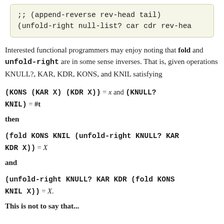[Figure (screenshot): Code block showing: ;; (append-reverse rev-head tail)
(unfold-right null-list? car cdr rev-hea]
Interested functional programmers may enjoy noting that fold and unfold-right are in some sense inverses. That is, given operations KNULL?, KAR, KDR, KONS, and KNIL satisfying
then
and
This is not to say that...